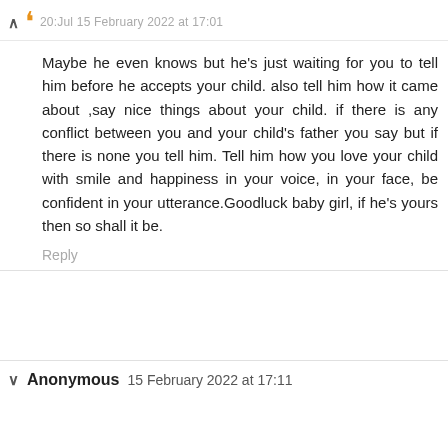20:Jul 15 February 2022 at 17:01
Maybe he even knows but he's just waiting for you to tell him before he accepts your child. also tell him how it came about ,say nice things about your child. if there is any conflict between you and your child's father you say but if there is none you tell him. Tell him how you love your child with smile and happiness in your voice, in your face, be confident in your utterance.Goodluck baby girl, if he's yours then so shall it be.
Reply
Anonymous 15 February 2022 at 17:11